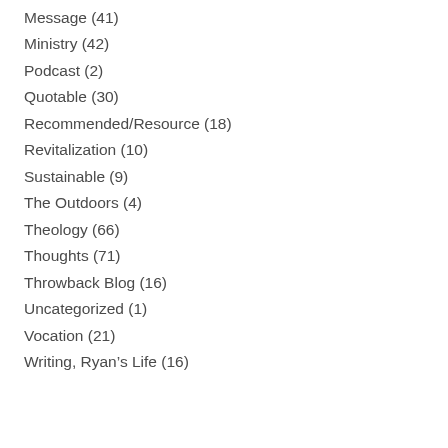Message (41)
Ministry (42)
Podcast (2)
Quotable (30)
Recommended/Resource (18)
Revitalization (10)
Sustainable (9)
The Outdoors (4)
Theology (66)
Thoughts (71)
Throwback Blog (16)
Uncategorized (1)
Vocation (21)
Writing, Ryan's Life (16)